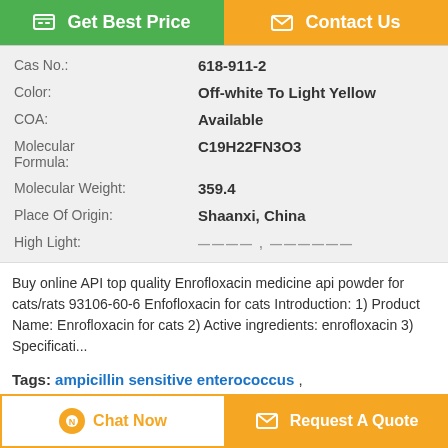[Figure (other): Two buttons: Get Best Price (green) and Contact Us (orange)]
| Cas No.: | 618-911-2 |
| Color: | Off-white To Light Yellow |
| COA: | Available |
| Molecular Formula: | C19H22FN3O3 |
| Molecular Weight: | 359.4 |
| Place Of Origin: | Shaanxi, China |
| High Light: | ——— |
Buy online API top quality Enrofloxacin medicine api powder for cats/rats 93106-60-6 Enfofloxacin for cats Introduction: 1) Product Name: Enrofloxacin for cats 2) Active ingredients: enrofloxacin 3) Specificati...
Tags: ampicillin sensitive enterococcus , ciprofloxacin urinary tract infection , neomycin sulfate powder
Product Description >
[Figure (other): Two bottom buttons: Chat Now (white/orange outline) and Request A Quote (orange)]